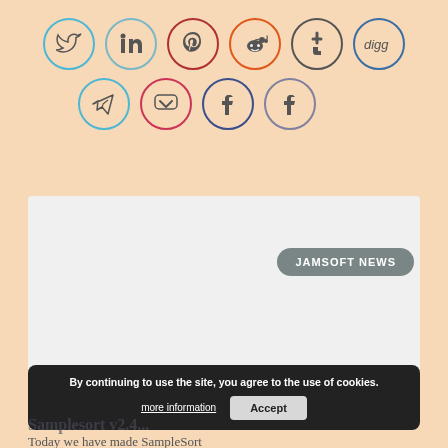[Figure (illustration): Two rows of social media share button icons in circles: Twitter (blue), LinkedIn (blue-gray), Pinterest (dark red), Reddit (orange-red), Tumblr (dark gray), Digg (blue), and second row: Telegram (blue), Pocket (red), Facebook (dark blue), Facebook (gray-blue)]
JAMSOFT NEWS
By continuing to use the site, you agree to the use of cookies.
more information
Accept
Samplesort v2.4...
Today we have made SampleSort